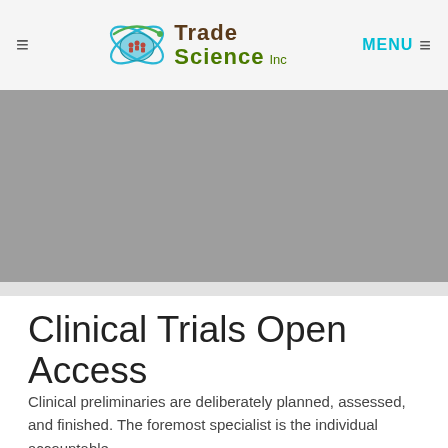Trade Science Inc — Navigation header with logo and menu
[Figure (photo): Gray placeholder hero image banner]
Clinical Trials Open Access
Clinical preliminaries are deliberately planned, assessed, and finished. The foremost specialist is the individual accountable